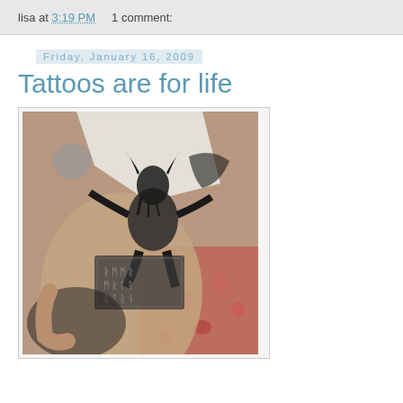lisa at 3:19 PM    1 comment:
Friday, January 16, 2009
Tattoos are for life
[Figure (photo): Close-up photograph of a tattoo on a person's arm/hand. The tattoo depicts a Viking or warrior figure with runic inscriptions on a banner or scroll below it. The background shows a floral-patterned fabric.]